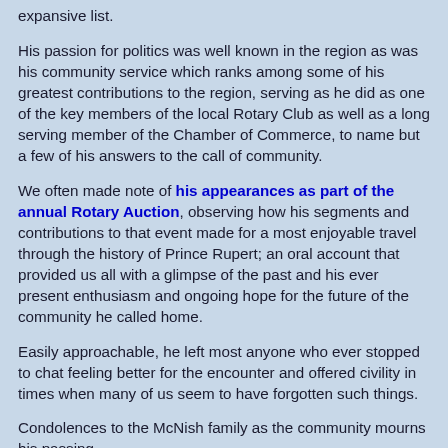expansive list.
His passion for politics was well known in the region as was his community service which ranks among some of his greatest contributions to the region, serving as he did as one of the key members of the local Rotary Club as well as a long serving member of the Chamber of Commerce, to name but a few of his answers to the call of community.
We often made note of his appearances as part of the annual Rotary Auction, observing how his segments and contributions to that event made for a most enjoyable travel through the history of Prince Rupert; an oral account that provided us all with a glimpse of the past and his ever present enthusiasm and ongoing hope for the future of the community he called home.
Easily approachable, he left most anyone who ever stopped to chat feeling better for the encounter and offered civility in times when many of us seem to have forgotten such things.
Condolences to the McNish family as the community mourns his passing.